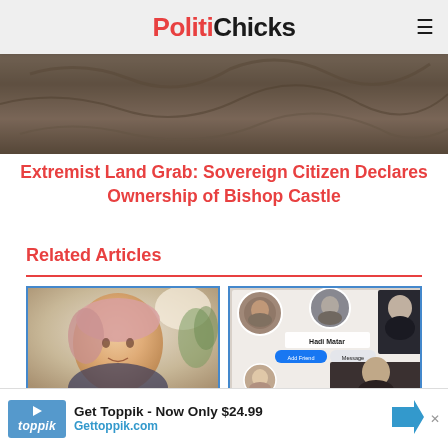PolitiChicks
[Figure (photo): Dark metalwork/sculptural image hero banner]
Extremist Land Grab: Sovereign Citizen Declares Ownership of Bishop Castle
Related Articles
[Figure (photo): Carol Everett headshot — older woman with pink/light hair on video call]
Carol Everett: Deep State's Dark Police Tactics Against Pro-Lifers
[Figure (photo): Social media screenshots showing Hadi Matar profile and related images]
Greenfield: Iran Builds Its Own Online ISIS in America
1 week ago
[Figure (other): Toppik advertisement banner: Get Toppik - Now Only $24.99, Gettoppik.com]